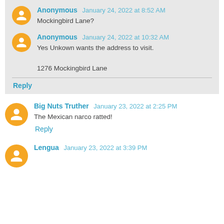Anonymous January 24, 2022 at 8:52 AM
Mockingbird Lane?
Anonymous January 24, 2022 at 10:32 AM
Yes Unkown wants the address to visit.
1276 Mockingbird Lane
Reply
Big Nuts Truther January 23, 2022 at 2:25 PM
The Mexican narco ratted!
Reply
Lengua January 23, 2022 at 3:39 PM